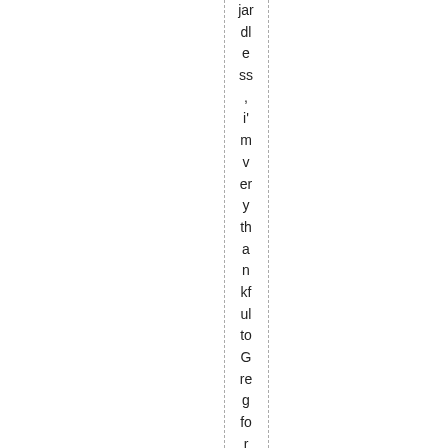jardless, i'm very thankful to Greg for the kindcare n